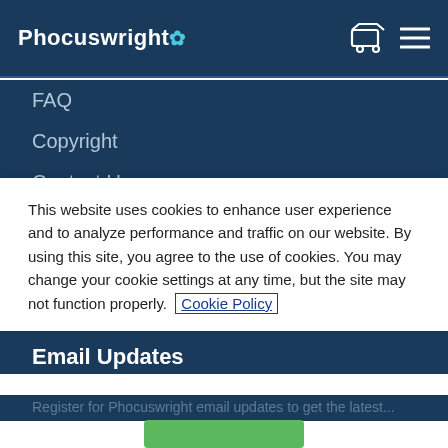Phocuswright
FAQ
Copyright
Contact Us
Research
News
Privacy & Terms
Press Room
Email Updates
Register for Phocuswright email updates to get the latest
This website uses cookies to enhance user experience and to analyze performance and traffic on our website. By using this site, you agree to the use of cookies. You may change your cookie settings at any time, but the site may not function properly.  Cookie Policy